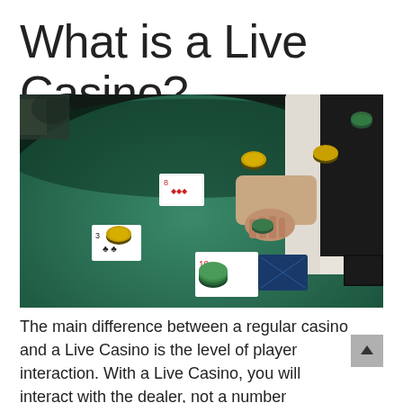What is a Live Casino?
[Figure (photo): A casino dealer in a white shirt dealing cards on a green felt casino table with yellow and green chips scattered around. Several playing cards are visible including what appears to be a card with clubs and red diamond cards. The dealer's hands are prominent holding chips. Dark background.]
The main difference between a regular casino and a Live Casino is the level of player interaction. With a Live Casino, you will interact with the dealer, not a number generator. You can test out new strategies and get